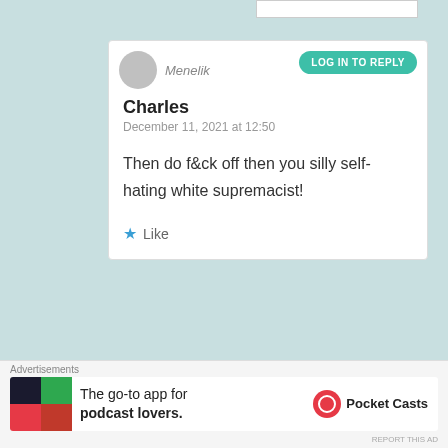[Figure (screenshot): Top input/search box stub at top right]
Menelik
LOG IN TO REPLY
Charles
December 11, 2021 at 12:50
Then do f&ck off then you silly self-hating white supremacist!
Like
Amaigom
LOG IN TO REPLY
Advertisements
The go-to app for podcast lovers.
Pocket Casts